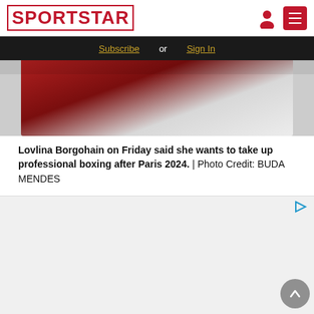SPORTSTAR
Subscribe or Sign In
[Figure (photo): Partial view of Lovlina Borgohain in boxing gear, red outfit visible]
Lovlina Borgohain on Friday said she wants to take up professional boxing after Paris 2024. | Photo Credit: BUDA MENDES
[Figure (infographic): Advertisement area with play button icon]
[Figure (infographic): 30 Morningside advertisement banner: Ernest Flagg-designed studio to 4-BR rentals overlooking Morningside & Central Parks. SCHEDULE YOUR TOUR]